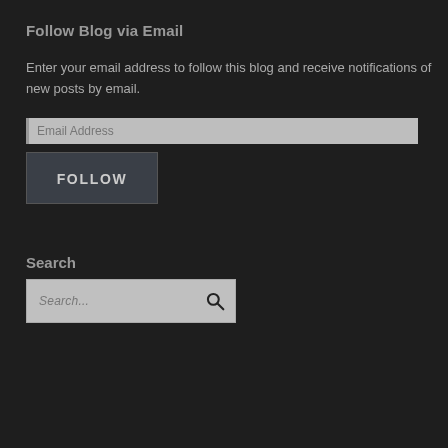Follow Blog via Email
Enter your email address to follow this blog and receive notifications of new posts by email.
Email Address
FOLLOW
Search
Search...